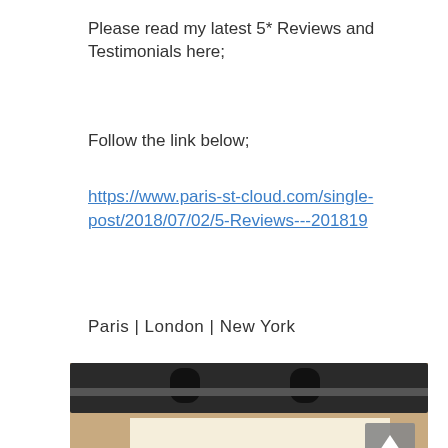Please read my latest 5* Reviews and Testimonials here;
Follow the link below;
https://www.paris-st-cloud.com/single-post/2018/07/02/5-Reviews---201819
Paris  |  London  |  New York
[Figure (photo): Vintage typewriter with paper showing 'CHAPTER ONE' text, sepia-toned photograph with a back-to-top arrow button overlay and a chat bubble button overlay.]